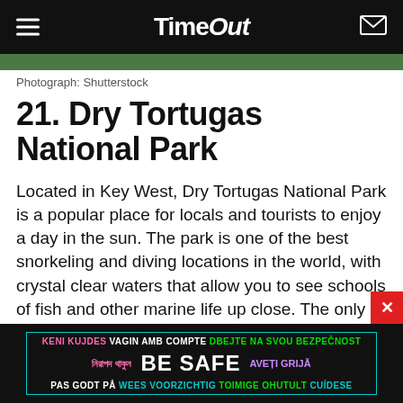Time Out
[Figure (photo): Partial photo strip of Dry Tortugas National Park]
Photograph: Shutterstock
21. Dry Tortugas National Park
Located in Key West, Dry Tortugas National Park is a popular place for locals and tourists to enjoy a day in the sun. The park is one of the best snorkeling and diving locations in the world, with crystal clear waters that allow you to see schools of fish and other marine life up close. The only way to get to the national park is by boat, but it's a worthy afternoon trip if you're already in Key West.
[Figure (other): BE SAFE multilingual advertisement banner]